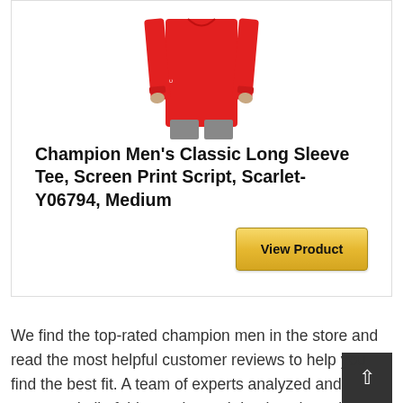[Figure (photo): A man wearing a red Champion long sleeve tee shirt, shown from chest down, with grey pants. The shirt is the product being advertised.]
Champion Men's Classic Long Sleeve Tee, Screen Print Script, Scarlet-Y06794, Medium
We find the top-rated champion men in the store and read the most helpful customer reviews to help you find the best fit. A team of experts analyzed and compared all of this year's worth buying champion men. You can easily